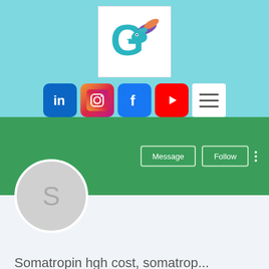[Figure (logo): Gepard-style logo with a 'G' and a bird/pelican with colorful wings on white background, set against a teal/cyan header bar]
[Figure (infographic): Row of social media icons: LinkedIn, Instagram, Facebook, YouTube, and a hamburger menu button]
[Figure (illustration): Green profile banner with Message and Follow buttons, a three-dots menu, and a grey circular avatar with letter S]
Somatropin hgh cost, somatrop...
0 Followers • 0 Following